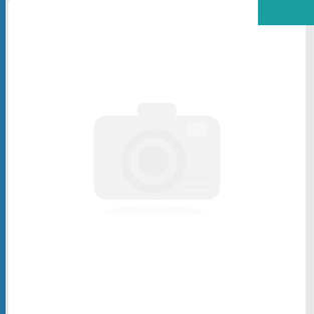[Figure (illustration): Main image placeholder with grey camera icon on white background card]
[Figure (illustration): Small thumbnail image placeholder with camera icon on white box, with dark blue underline indicating selected state]
Ad Details
Location: Warangal
Price: -- ₹